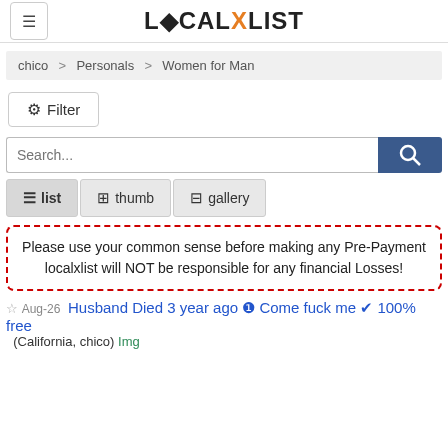LOCALXLIST
chico > Personals > Women for Man
Filter
Search...
list  thumb  gallery
Please use your common sense before making any Pre-Payment localxlist will NOT be responsible for any financial Losses!
Aug-26 Husband Died 3 year ago ❶ Come fuck me ✔ 100% free (California, chico) Img